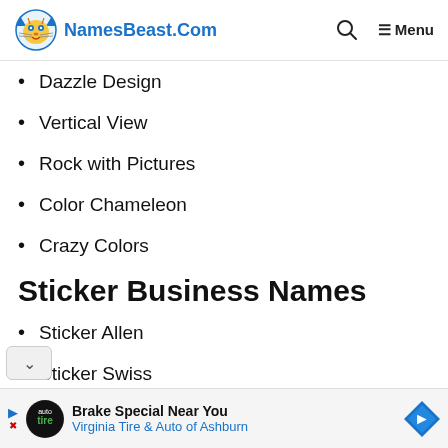NamesBeast.Com — Menu
Dazzle Design
Vertical View
Rock with Pictures
Color Chameleon
Crazy Colors
Sticker Business Names
Sticker Allen
Sticker Swiss
Sticker Sign
Brake Special Near You — Virginia Tire & Auto of Ashburn